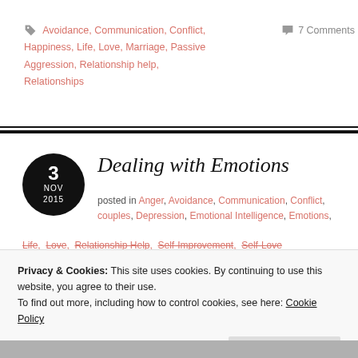🏷 Avoidance, Communication, Conflict, Happiness, Life, Love, Marriage, Passive Aggression, Relationship help, Relationships
💬 7 Comments
Dealing with Emotions
posted in Anger, Avoidance, Communication, Conflict, couples, Depression, Emotional Intelligence, Emotions, Life, Love, Relationship Help, Self-Improvement, Self-Love
Privacy & Cookies: This site uses cookies. By continuing to use this website, you agree to their use.
To find out more, including how to control cookies, see here: Cookie Policy
Close and accept